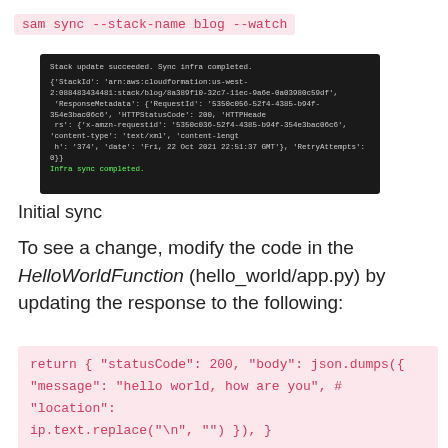sam sync --stack-name blog --watch
[Figure (screenshot): Terminal screenshot showing stack update succeeded, sync infra completed, with JSON response metadata and 'Infra sync completed.' in green text.]
Initial sync
To see a change, modify the code in the HelloWorldFunction (hello_world/app.py) by updating the response to the following:
return { "statusCode": 200, "body": json.dumps({"message": "hello world, how are you", # "location": ip.text.replace("\n", "") }), }